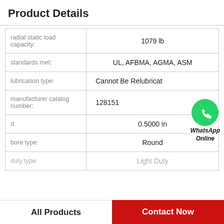Product Details
| Property | Value |
| --- | --- |
| radial static load capacity: | 1079 lb |
| standards met: | UL, AFBMA, AGMA, ASM |
| lubrication type: | Cannot Be Relubricated |
| manufacturer catalog number: | 128151 |
| d | 0.5000 in |
| bore type: | Round |
| duty type: | Light Duty |
All Products   Contact Now